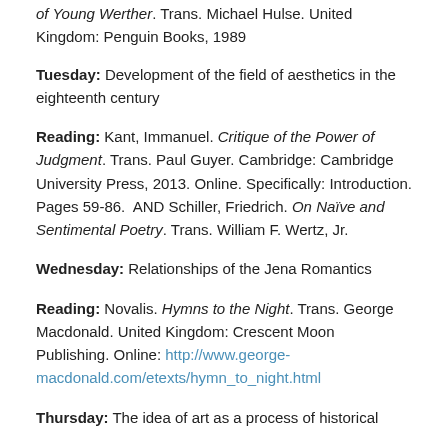of Young Werther. Trans. Michael Hulse. United Kingdom: Penguin Books, 1989
Tuesday: Development of the field of aesthetics in the eighteenth century
Reading: Kant, Immanuel. Critique of the Power of Judgment. Trans. Paul Guyer. Cambridge: Cambridge University Press, 2013. Online. Specifically: Introduction. Pages 59-86.  AND Schiller, Friedrich. On Naïve and Sentimental Poetry. Trans. William F. Wertz, Jr.
Wednesday: Relationships of the Jena Romantics
Reading: Novalis. Hymns to the Night. Trans. George Macdonald. United Kingdom: Crescent Moon Publishing. Online: http://www.george-macdonald.com/etexts/hymn_to_night.html
Thursday: The idea of art as a process of historical